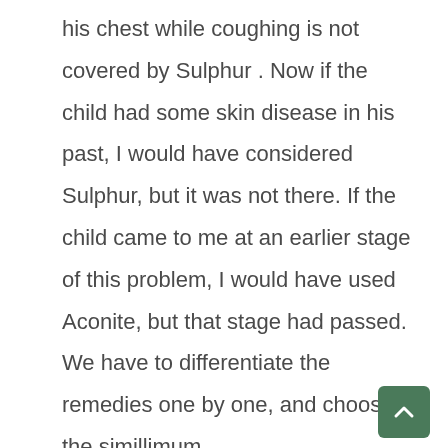his chest while coughing is not covered by Sulphur . Now if the child had some skin disease in his past, I would have considered Sulphur, but it was not there. If the child came to me at an earlier stage of this problem, I would have used Aconite, but that stage had passed. We have to differentiate the remedies one by one, and choose the simillimum.

In a follow up after two months the child still had not had any episodes of cold an